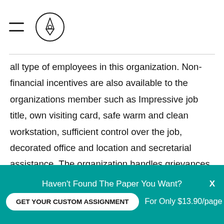all type of employees in this organization. Non-financial incentives are also available to the organizations member such as Impressive job title, own visiting card, safe warm and clean workstation, sufficient control over the job, decorated office and location and secretarial assistance. The organization handles grievances according to the company rule. 4. 4 GRIEVANCES 4. 4. Grievances: Every employee has certain expectations, which he thinks must be fulfilled by the organization he is working for. When the organization fails to do this, he develops a feeling of
Haven't Found The Paper You Want?
GET YOUR CUSTOM ASSIGNMENT
For Only $13.90/page
X